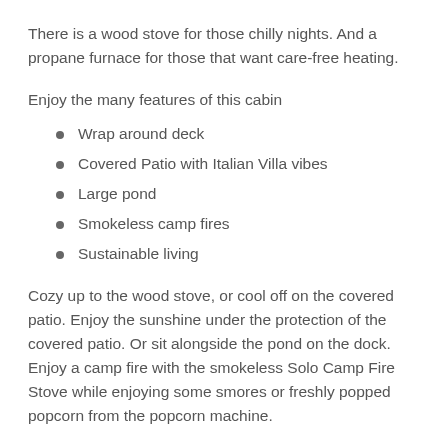There is a wood stove for those chilly nights. And a propane furnace for those that want care-free heating.
Enjoy the many features of this cabin
Wrap around deck
Covered Patio with Italian Villa vibes
Large pond
Smokeless camp fires
Sustainable living
Cozy up to the wood stove, or cool off on the covered patio. Enjoy the sunshine under the protection of the covered patio. Or sit alongside the pond on the dock. Enjoy a camp fire with the smokeless Solo Camp Fire Stove while enjoying some smores or freshly popped popcorn from the popcorn machine.
Sl...